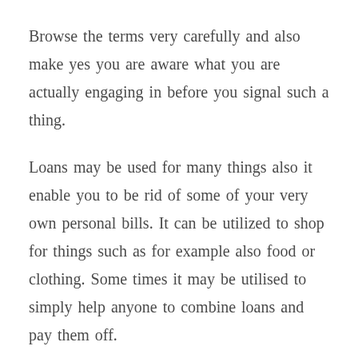Browse the terms very carefully and also make yes you are aware what you are actually engaging in before you signal such a thing.
Loans may be used for many things also it enable you to be rid of some of your very own personal bills. It can be utilized to shop for things such as for example also food or clothing. Some times it may be utilised to simply help anyone to combine loans and pay them off.
Ensure which you find a pay check loan Whenever youвЂ™re in a scenario where you stand requiring cash. Such loans are meant to be utilised as short-term responses for working out for you spend your